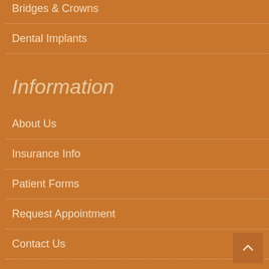Bridges & Crowns
Dental Implants
Information
About Us
Insurance Info
Patient Forms
Request Appointment
Contact Us